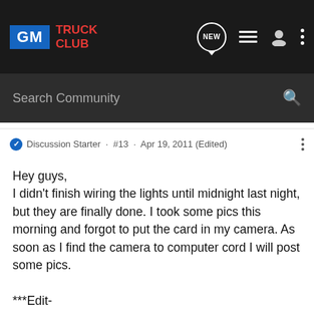GM TRUCK CLUB
Search Community
Discussion Starter · #13 · Apr 19, 2011 (Edited)
Hey guys,
I didn't finish wiring the lights until midnight last night, but they are finally done. I took some pics this morning and forgot to put the card in my camera. As soon as I find the camera to computer cord I will post some pics.

***Edit-

Here are a couple pics I took. I will get some night shots up later or tomorrow.